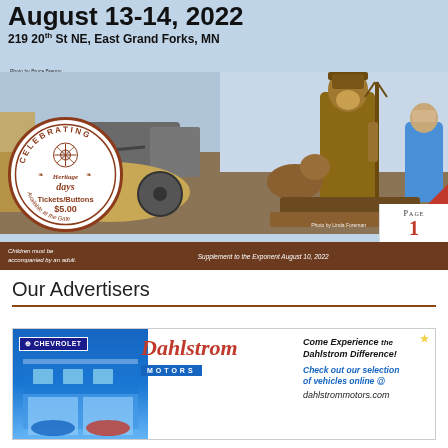[Figure (photo): Heritage Days event promotional image. Top section has bold text 'August 13-14, 2022' and address '219 20th St NE, East Grand Forks, MN'. Left photo shows farm threshing machinery with hay. Right photo shows carved wooden pioneer statues (man with pitchfork, dog, woman in blue dress). A circular seal overlay reads 'Celebrating Heritage Days Tickets/Buttons $5.00 Available at the Gate'. Bottom brown bar reads 'Children must be accompanied by an adult.' and 'Supplement to the Exponent August 10, 2022'. PAGE 1 badge in bottom right corner.]
Our Advertisers
[Figure (photo): Dahlstrom Motors Chevrolet advertisement. Left shows blue Chevrolet dealership building. Center has 'Dahlstrom Motors' logo in red italic script with 'MOTORS' in blue bar. Right side text reads 'Come Experience the Dahlstrom Difference! Check out our selection of vehicles online @ dahlstrommotors.com' with a gold star.]